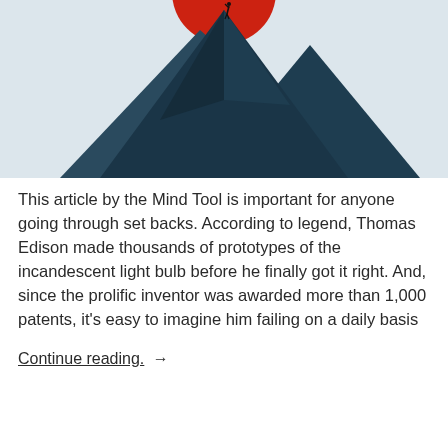[Figure (illustration): Illustration of a mountain with dark teal/navy angular peaks against a light gray-blue sky, with a small figure climbing to the summit where a large red circle (sun) is partially visible at the top.]
This article by the Mind Tool is important for anyone going through set backs. According to legend, Thomas Edison made thousands of prototypes of the incandescent light bulb before he finally got it right. And, since the prolific inventor was awarded more than 1,000 patents, it's easy to imagine him failing on a daily basis
Continue reading. →